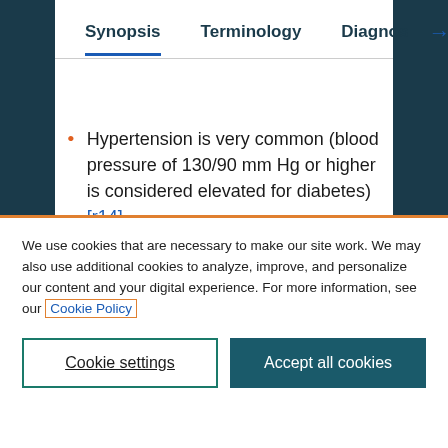Synopsis  Terminology  Diagnos →
Hypertension is very common (blood pressure of 130/90 mm Hg or higher is considered elevated for diabetes) [r14]
Associated with sodium and fluid retention, causing edema (particularly
We use cookies that are necessary to make our site work. We may also use additional cookies to analyze, improve, and personalize our content and your digital experience. For more information, see our Cookie Policy
Cookie settings  Accept all cookies